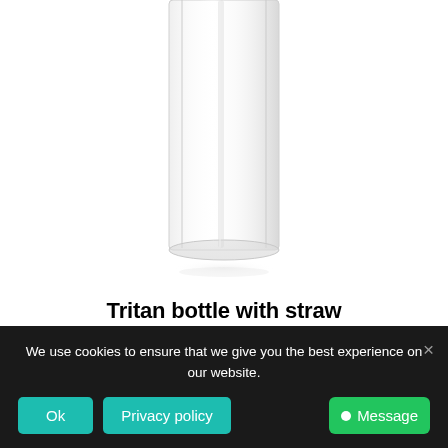[Figure (photo): Clear transparent Tritan plastic bottle with straw, close-up of the bottom portion of the bottle on white background]
Tritan bottle with straw
We use cookies to ensure that we give you the best experience on our website.
Ok
Privacy policy
Message